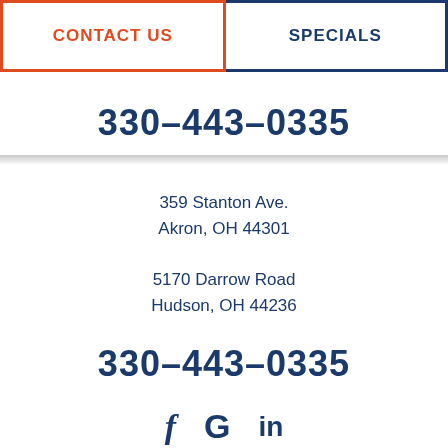CONTACT US
SPECIALS
330-443-0335
359 Stanton Ave.
Akron, OH 44301
5170 Darrow Road
Hudson, OH 44236
330-443-0335
[Figure (infographic): Social media icons: f (Facebook), G (Google), in (LinkedIn)]